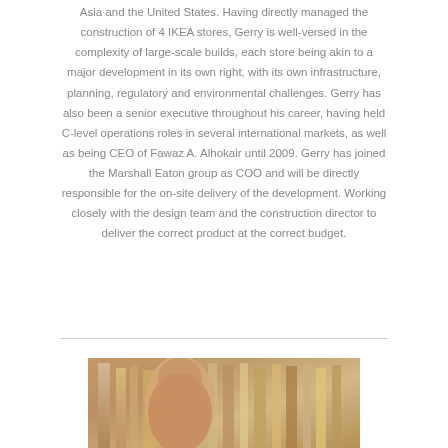Asia and the United States. Having directly managed the construction of 4 IKEA stores, Gerry is well-versed in the complexity of large-scale builds, each store being akin to a major development in its own right, with its own infrastructure, planning, regulatory and environmental challenges. Gerry has also been a senior executive throughout his career, having held C-level operations roles in several international markets, as well as being CEO of Fawaz A. Alhokair until 2009. Gerry has joined the Marshall Eaton group as COO and will be directly responsible for the on-site delivery of the development. Working closely with the design team and the construction director to deliver the correct product at the correct budget.
[Figure (photo): Photograph of a person, partially visible at bottom of page, appears to be a professional headshot or portrait photo with a building or architectural background.]